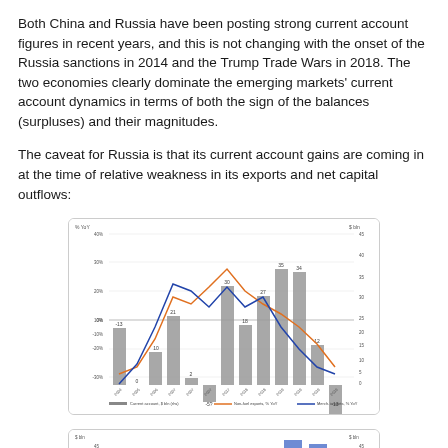Both China and Russia have been posting strong current account figures in recent years, and this is not changing with the onset of the Russia sanctions in 2014 and the Trump Trade Wars in 2018. The two economies clearly dominate the emerging markets' current account dynamics in terms of both the sign of the balances (surpluses) and their magnitudes.
The caveat for Russia is that its current account gains are coming in at the time of relative weakness in its exports and net capital outflows:
[Figure (bar-chart): Russia Current Account, Non-fuel exports % YoY, Merch. imports % YoY]
[Figure (bar-chart): Partially visible bar chart at bottom of page showing $ bln values]